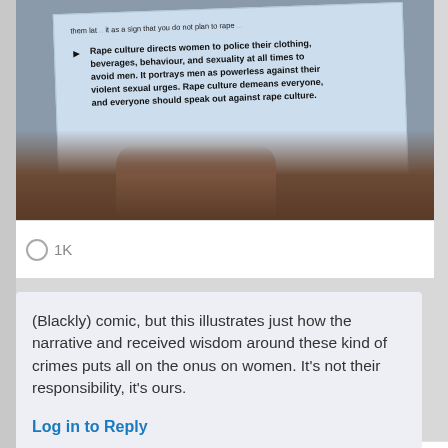[Figure (photo): A photo of a hand holding a light blue paper/card with text about rape culture. The paper shows bullet points about rape culture directing women to police their clothing, beverages, behaviour and sexuality. A portion of the top text is cut off.]
1K
(Blackly) comic, but this illustrates just how the narrative and received wisdom around these kind of crimes puts all on the onus on women. It's not their responsibility, it's ours.
Log in to Reply